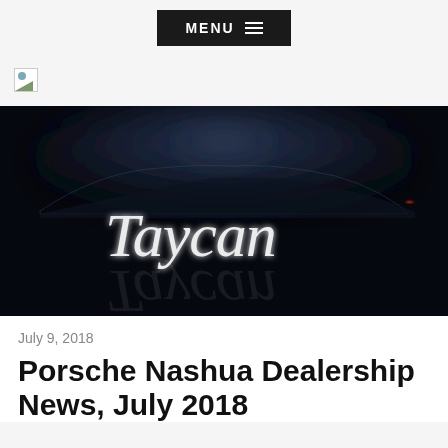MENU
[Figure (logo): Broken image placeholder for dealership logo]
[Figure (photo): Dark teaser image of Porsche Taycan with the script word 'Taycan' illuminated in white against a dark background, showing the silhouette of the car]
July 9, 2018
Porsche Nashua Dealership News, July 2018